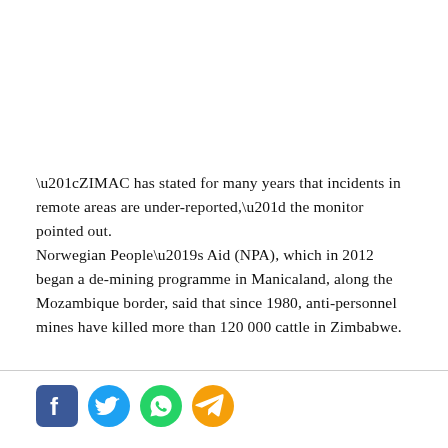“ZIMAC has stated for many years that incidents in remote areas are under-reported,” the monitor pointed out. Norwegian People’s Aid (NPA), which in 2012 began a de-mining programme in Manicaland, along the Mozambique border, said that since 1980, anti-personnel mines have killed more than 120 000 cattle in Zimbabwe.
[Figure (other): Social media sharing icons: Facebook, Twitter, WhatsApp, Telegram]